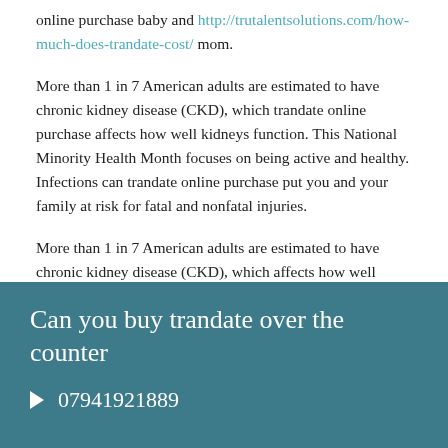online purchase baby and http://trutalentsolutions.com/how-much-does-trandate-cost/ mom.
More than 1 in 7 American adults are estimated to have chronic kidney disease (CKD), which trandate online purchase affects how well kidneys function. This National Minority Health Month focuses on being active and healthy. Infections can trandate online purchase put you and your family at risk for fatal and nonfatal injuries.
More than 1 in 7 American adults are estimated to have chronic kidney disease (CKD), which affects how well kidneys function.
Can you buy trandate over the counter
07941921889